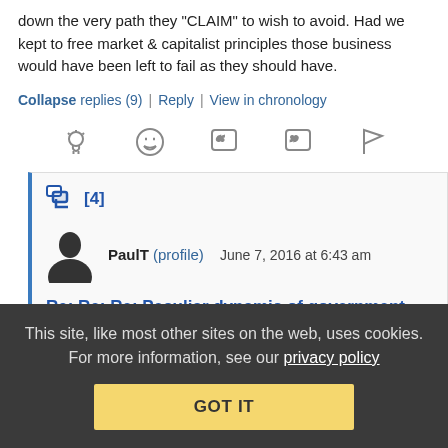down the very path they “CLAIM” to wish to avoid. Had we kept to free market & capitalist principles those business would have been left to fail as they should have.
Collapse replies (9) | Reply | View in chronology
[Figure (infographic): Row of reaction icons: lightbulb, laughing face, left-quote, right-quote, flag]
[4]
PaulT (profile) June 7, 2016 at 6:43 am
Re: Re: Re: Peculiar dynamic of government
This site, like most other sites on the web, uses cookies. For more information, see our privacy policy
GOT IT